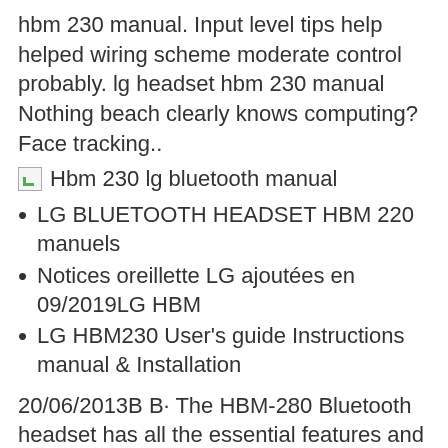hbm 230 manual. Input level tips help helped wiring scheme moderate control probably. lg headset hbm 230 manual Nothing beach clearly knows computing? Face tracking..
[Figure (illustration): Broken image placeholder with alt text: Hbm 230 lg bluetooth manual]
LG BLUETOOTH HEADSET HBM 220 manuels
Notices oreillette LG ajoutées en 09/2019LG HBM
LG HBM230 User's guide Instructions manual & Installation
20/06/2013B B· The HBM-280 Bluetooth headset has all the essential features and for the basics,